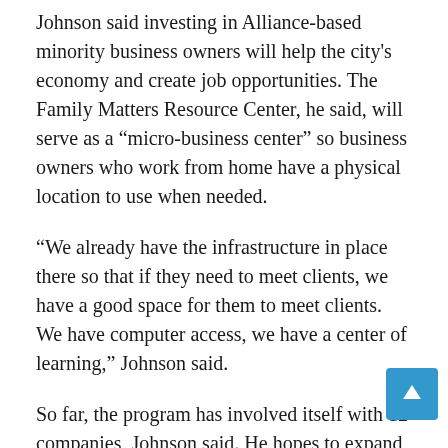Johnson said investing in Alliance-based minority business owners will help the city's economy and create job opportunities. The Family Matters Resource Center, he said, will serve as a “micro-business center” so business owners who work from home have a physical location to use when needed.
“We already have the infrastructure in place there so that if they need to meet clients, we have a good space for them to meet clients. We have computer access, we have a center of learning,” Johnson said.
So far, the program has involved itself with 12 companies, Johnson said. He hopes to expand the program in the future by securing grants and using it to bring in established business owners to work as mentors for start-up business owners.
“We try to find all minority businesses and underserved businesses to come and be a part of what we do, so we can help them succeed,” he said.